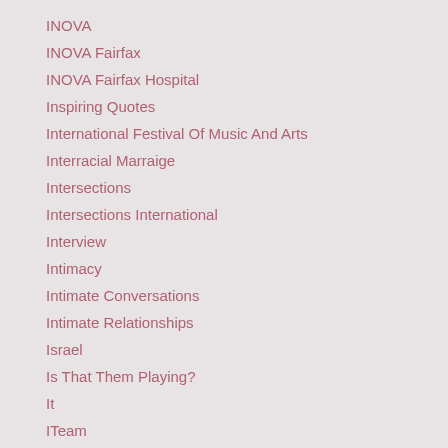INOVA
INOVA Fairfax
INOVA Fairfax Hospital
Inspiring Quotes
International Festival Of Music And Arts
Interracial Marraige
Intersections
Intersections International
Interview
Intimacy
Intimate Conversations
Intimate Relationships
Israel
Is That Them Playing?
It
ITeam
I &Thou
It's Not Yet Dark
Jackie, Jules